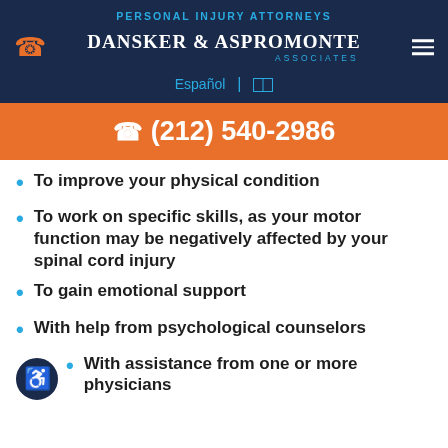PERSONAL INJURY ATTORNEYS — DANSKER & ASPROMONTE ASSOCIATES
(212) 540-2986
To improve your physical condition
To work on specific skills, as your motor function may be negatively affected by your spinal cord injury
To gain emotional support
With help from psychological counselors
With assistance from one or more physicians